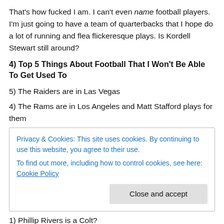That's how fucked I am. I can't even name football players. I'm just going to have a team of quarterbacks that I hope do a lot of running and flea flickeresque plays. Is Kordell Stewart still around?
4) Top 5 Things About Football That I Won't Be Able To Get Used To
5) The Raiders are in Las Vegas
4) The Rams are in Los Angeles and Matt Stafford plays for them
Privacy & Cookies: This site uses cookies. By continuing to use this website, you agree to their use.
To find out more, including how to control cookies, see here: Cookie Policy
1) Phillip Rivers is a Colt?